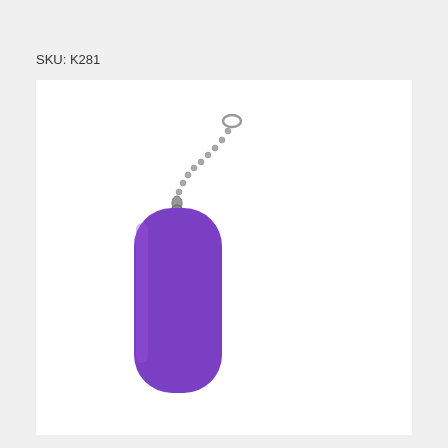SKU: K281
[Figure (photo): A purple rubber dog tag silicone cover/sleeve with a metal ball chain keychain attached at the top. The tag is rounded-rectangle shaped and solid purple in color.]